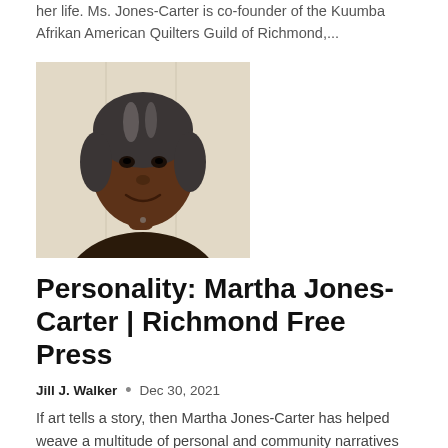her life. Ms. Jones-Carter is co-founder of the Kuumba Afrikan American Quilters Guild of Richmond,...
[Figure (photo): Portrait photo of Martha Jones-Carter, a Black woman with gray hair, smiling, against a light background]
Personality: Martha Jones-Carter | Richmond Free Press
Jill J. Walker • Dec 30, 2021
If art tells a story, then Martha Jones-Carter has helped weave a multitude of personal and community narratives over the course of her life. Ms. Jones-Carter is co-founder of the Kuumba Afrikan American Quilters Guild of Richmond,...